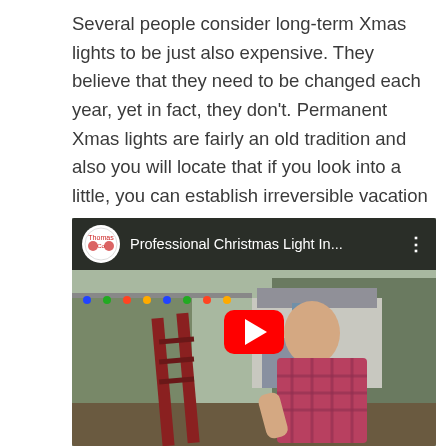Several people consider long-term Xmas lights to be just also expensive. They believe that they need to be changed each year, yet in fact, they don't. Permanent Xmas lights are fairly an old tradition and also you will locate that if you look into a little, you can establish irreversible vacation lights of your own.
[Figure (screenshot): Embedded YouTube video thumbnail showing a man leaning on a ladder outdoors, with a house in the background. The video title reads 'Professional Christmas Light In...' with a channel logo on the left and three-dot menu on the right. A red YouTube play button is centered on the thumbnail.]